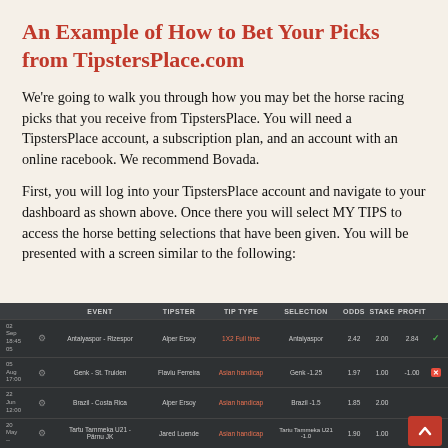An Example of How to Bet Your Picks from TipstersPlace.com
We're going to walk you through how you may bet the horse racing picks that you receive from TipstersPlace. You will need a TipstersPlace account, a subscription plan, and an account with an online racebook. We recommend Bovada.
First, you will log into your TipstersPlace account and navigate to your dashboard as shown above. Once there you will select MY TIPS to access the horse betting selections that have been given. You will be presented with a screen similar to the following:
[Figure (screenshot): Screenshot of TipstersPlace dashboard table showing tips with columns: EVENT, TIPSTER, TIP TYPE, SELECTION, ODDS, STAKE, PROFIT. Rows include: Antalyaspor - Rizespor (Alper Ersoy, 1X2 Full time, Antalyaspor, 2.42, 2.00, 2.84 with green check); Genk - St. Truiden (Flaviu Ferreira, Asian handicap, Genk -1.25, 1.97, 1.00, -1.00 with red X); Brazil - Costa Rica (Alper Ersoy, Asian handicap, Brazil -1.5, 1.85, 2.00); Tartu Tammeka U21 - Parnu JK (Jared Loende, Asian handicap, Tartu Tammeka U21 -1.0, 1.90, 1.00)]